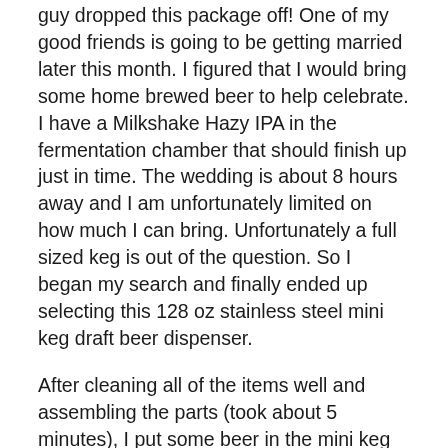guy dropped this package off! One of my good friends is going to be getting married later this month. I figured that I would bring some home brewed beer to help celebrate. I have a Milkshake Hazy IPA in the fermentation chamber that should finish up just in time. The wedding is about 8 hours away and I am unfortunately limited on how much I can bring. Unfortunately a full sized keg is out of the question. So I began my search and finally ended up selecting this 128 oz stainless steel mini keg draft beer dispenser.
After cleaning all of the items well and assembling the parts (took about 5 minutes), I put some beer in the mini keg to try it out and it worked perfectly.  It has a mini regulator that features a gauge so that you can carefully control the PSI of your CO2.  I set the PSI to 5 and it poured beer perfectly with out excess foam or spitting beer halfway across the room. They say that the CO2 cartridge should last for at least one mini kegs worth of